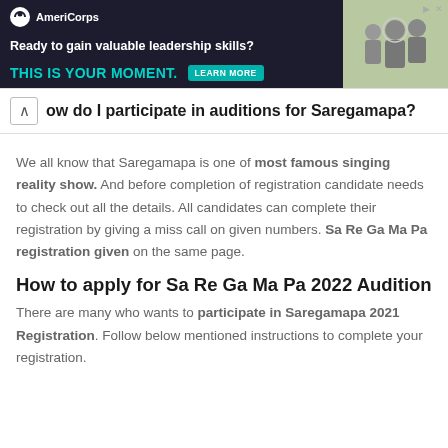[Figure (infographic): AmeriCorps advertisement banner: 'Ready to gain valuable leadership skills? THIS IS YOUR MOMENT.' with LEARN MORE button and photo of people on dark background]
ow do I participate in auditions for Saregamapa?
We all know that Saregamapa is one of most famous singing reality show. And before completion of registration candidate needs to check out all the details. All candidates can complete their registration by giving a miss call on given numbers. Sa Re Ga Ma Pa registration given on the same page.
How to apply for Sa Re Ga Ma Pa 2022 Audition
There are many who wants to participate in Saregamapa 2021 Registration. Follow below mentioned instructions to complete your registration.